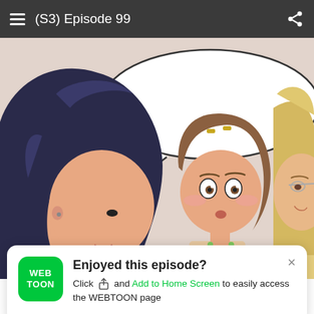(S3) Episode 99
[Figure (illustration): Webtoon comic panel showing three anime-style characters: a dark-haired girl on the left facing toward center, a surprised short brown-haired girl in the middle wearing a green tank top, and a blonde character partially visible on the right. A large empty speech bubble floats above them on a light pink background.]
[Figure (other): WiFi icon with exclamation mark notification badge in green, indicating a connection warning]
Enjoyed this episode? Click and Add to Home Screen to easily access the WEBTOON page